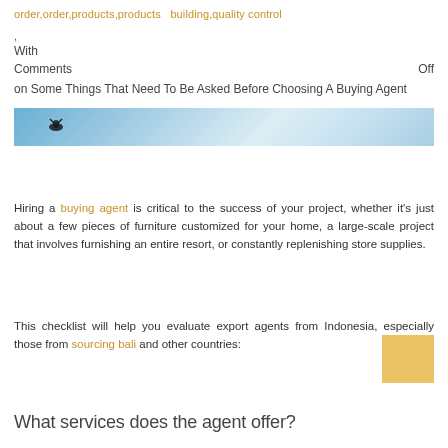order,order,products,products building,quality control
,
With
Comments Off
on Some Things That Need To Be Asked Before Choosing A Buying Agent
[Figure (photo): Wide banner photo with blue sky and a dark bird/insect silhouette]
Hiring a buying agent is critical to the success of your project, whether it's just about a few pieces of furniture customized for your home, a large-scale project that involves furnishing an entire resort, or constantly replenishing store supplies.
This checklist will help you evaluate export agents from Indonesia, especially those from sourcing bali and other countries:
What services does the agent offer?